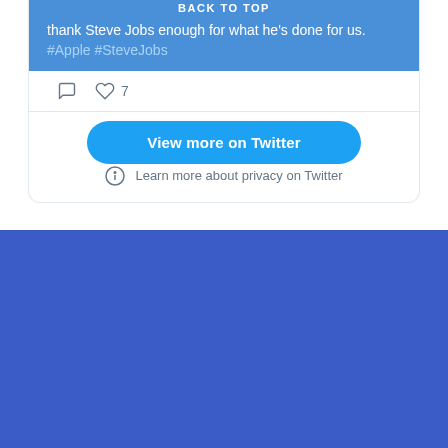thank Steve Jobs enough for what he's done for us. #Apple #SteveJobs
BACK TO TOP
♡ 7
View more on Twitter
ⓘ Learn more about privacy on Twitter
Receive future posts via email
Enter your email address to subscribe to this blog and receive notifications of new posts by email.